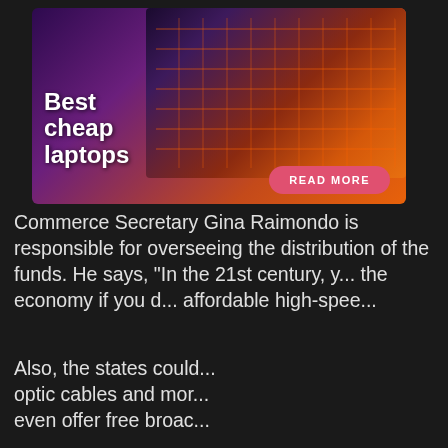[Figure (infographic): Advertisement banner for 'Best cheap laptops' showing a laptop keyboard with orange/purple gradient lighting and a 'READ MORE' button]
Commerce Secretary Gina Raimondo is responsible for overseeing the distribution of the funds. He says, “In the 21st century, y... the economy if you d... affordable high-spee...
Also, the states could... optic cables and mor... even offer free broac...
[Figure (screenshot): Video overlay widget showing 'Up Next - Samsung Galaxy Buds 2 Pro r...' with an ad playing showing 'GALAXY BUDS 2 PRO' text and a person holding earbuds. Ad label shows 'Ad 1 of 1 (0:30)' with mute button.]